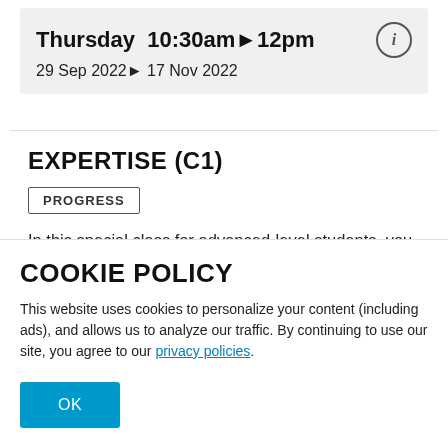Thursday  10:30am▶12pm
29 Sep 2022▶ 17 Nov 2022
EXPERTISE (C1)
PROGRESS
In this special class for advanced-level students, you will fine-tune your French listening, reading, writing and speaking skills, working towards expressing yourself on an ever-wider range of topics, with greater
COOKIE POLICY
This website uses cookies to personalize your content (including ads), and allows us to analyze our traffic. By continuing to use our site, you agree to our privacy policies.